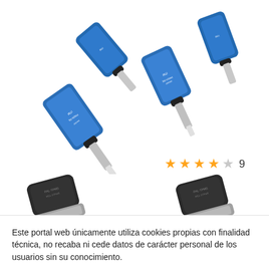[Figure (photo): Multiple blue TPMS tire pressure monitoring sensors with silver metal valve stems, viewed from above at an angle. Branded ITM.]
★★★★☆ 9
[Figure (photo): Two black TPMS tire pressure monitoring sensors shown side by side from a close angle, partially cropped at bottom.]
Este portal web únicamente utiliza cookies propias con finalidad técnica, no recaba ni cede datos de carácter personal de los usuarios sin su conocimiento.
Sin embargo, contiene enlaces a sitios web de terceros con políticas de privacidad ajenas a la de la AEPD que usted podrá decidir si acepta o no cuando acceda a ellos.
Más ajustes
Aceptar